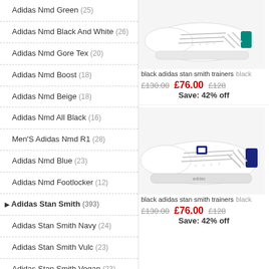Adidas Nmd Green (25)
Adidas Nmd Black And White (26)
Adidas Nmd Gore Tex (20)
Adidas Nmd Boost (18)
Adidas Nmd Beige (18)
Adidas Nmd All Black (16)
Men'S Adidas Nmd R1 (28)
Adidas Nmd Blue (23)
Adidas Nmd Footlocker (12)
Adidas Stan Smith (393)
Adidas Stan Smith Navy (24)
Adidas Stan Smith Vulc (23)
Adidas Stan Smith Vegan (23)
Adidas Originals Stan Smith Vulc (19)
Adidas Stan Smith Black And White (22)
[Figure (photo): White Adidas Stan Smith trainer with green heel tab]
black adidas stan smith trainers   black
£130.00  £76.00  Save: 42% off  £128
[Figure (photo): White Adidas Stan Smith trainer with navy heel tab]
black adidas stan smith trainers   black
£130.00  £76.00  Save: 42% off  £128